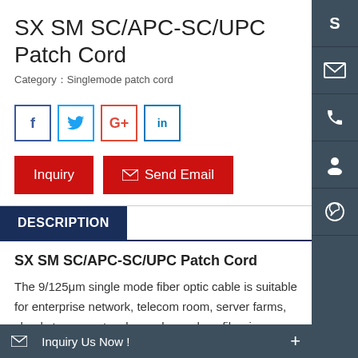SX SM SC/APC-SC/UPC Patch Cord
Category：Singlemode patch cord
[Figure (infographic): Social media share buttons: Facebook, Twitter, Google+, LinkedIn]
[Figure (infographic): Action buttons: Inquiry (red), Send Email (red with envelope icon)]
DESCRIPTION
SX SM SC/APC-SC/UPC Patch Cord
The 9/125μm single mode fiber optic cable is suitable for enterprise network, telecom room, server farms, cloud storage networks, and any place fiber jumper cables are needed.
Features:
[Figure (infographic): Right sidebar with icons: Skype (S), envelope, phone, person/chat, WhatsApp]
[Figure (infographic): Bottom bar: envelope icon, Inquiry Us Now!, plus button]